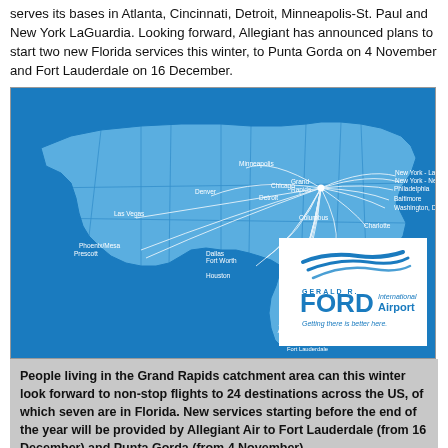serves its bases in Atlanta, Cincinnati, Detroit, Minneapolis-St. Paul and New York LaGuardia. Looking forward, Allegiant has announced plans to start two new Florida services this winter, to Punta Gorda on 4 November and Fort Lauderdale on 16 December.
[Figure (map): Route map of Gerald R. Ford International Airport showing non-stop flight routes from Grand Rapids across the US, with lines radiating to destinations including Minneapolis, New York/LaGuardia, New York/Newark, Philadelphia, Baltimore, Washington DC, Charlotte, Atlanta, Indianapolis, Las Vegas, Phoenix/Mesa, Prescott, Denver, Dallas/Fort Worth, Houston, Orlando-Sanford, Orlando International, Tampa International, St. Pete/Clearwater, Punta Gorda, Fort Myers, and Fort Lauderdale. Gerald R. Ford Airport logo is shown in lower right corner.]
People living in the Grand Rapids catchment area can this winter look forward to non-stop flights to 24 destinations across the US, of which seven are in Florida. New services starting before the end of the year will be provided by Allegiant Air to Fort Lauderdale (from 16 December) and Punta Gorda (from 4 November).